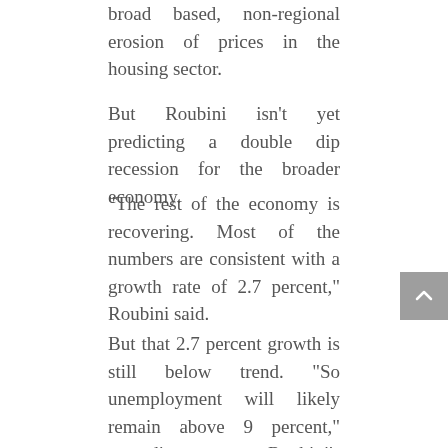broad based, non-regional erosion of prices in the housing sector.
But Roubini isn't yet predicting a double dip recession for the broader economy.
“The rest of the economy is recovering. Most of the numbers are consistent with a growth rate of 2.7 percent,” Roubini said.
But that 2.7 percent growth is still below trend. “So unemployment will likely remain above 9 percent,” according to Roubini’s analysis.